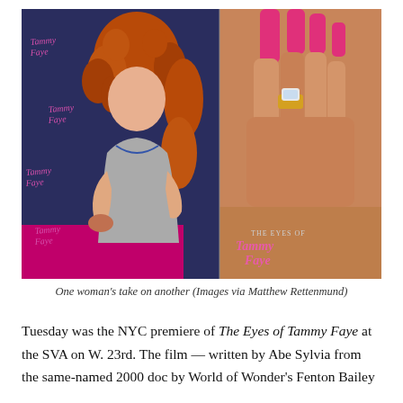[Figure (photo): Split image: left side shows a woman with curly red hair wearing a silver sequined dress at the NYC premiere of The Eyes of Tammy Faye, posing in front of a step-and-repeat backdrop printed with the film's title in pink script. Right side shows a close-up of a hand with long pink nails and a large diamond ring, overlaid with the film's logo 'The Eyes of Tammy Faye'.]
One woman's take on another (Images via Matthew Rettenmund)
Tuesday was the NYC premiere of The Eyes of Tammy Faye at the SVA on W. 23rd. The film — written by Abe Sylvia from the same-named 2000 doc by World of Wonder's Fenton Bailey